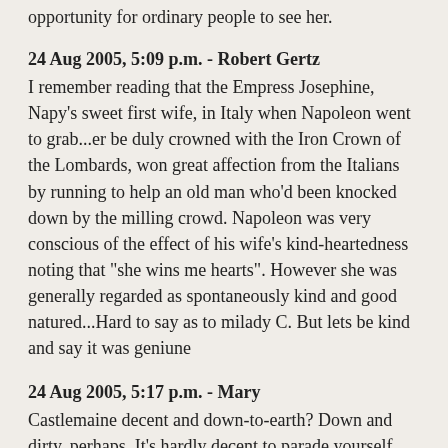opportunity for ordinary people to see her.
24 Aug 2005, 5:09 p.m. - Robert Gertz
I remember reading that the Empress Josephine, Napy's sweet first wife, in Italy when Napoleon went to grab...er be duly crowned with the Iron Crown of the Lombards, won great affection from the Italians by running to help an old man who'd been knocked down by the milling crowd. Napoleon was very conscious of the effect of his wife's kind-heartedness noting that "she wins me hearts". However she was generally regarded as spontaneously kind and good natured...Hard to say as to milady C. But lets be kind and say it was geniune
24 Aug 2005, 5:17 p.m. - Mary
Castlemaine decent and down-to-earth? Down and dirty, perhaps. It's hardly decent to parade yourself and your latest bastard in full view of the crowd and in the face of your own husband, your lover and your lover's brand-new wife. Yes, people in general knew what the situation was